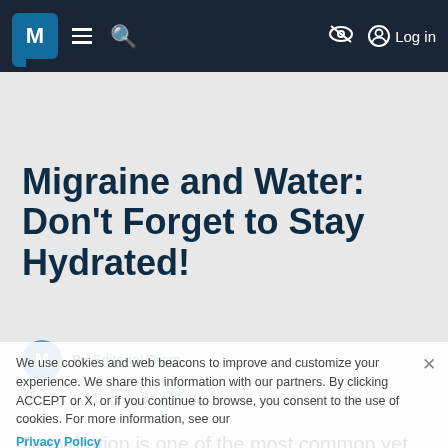M [logo] ≡ 🔍 [nav icons] Log in
Migraine and Water: Don't Forget to Stay Hydrated!
By Editorial Team ·
We use cookies and web beacons to improve and customize your experience. We share this information with our partners. By clicking ACCEPT or X, or if you continue to browse, you consent to the use of cookies. For more information, see our Privacy Policy
Dehydration is one of the most common yet overlooked migraine triggers. Keeping track of our fluid intake is especially important